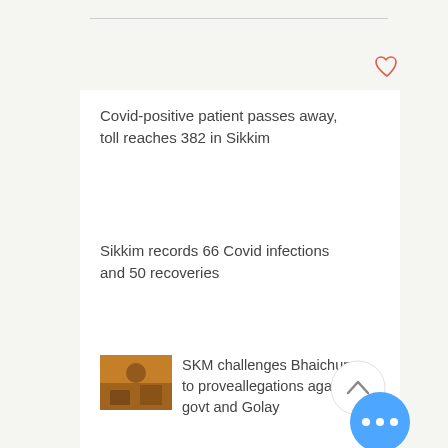[Figure (other): Heart (favorite) icon outline in red/coral color, top right corner]
Covid-positive patient passes away, toll reaches 382 in Sikkim
Sikkim records 66 Covid infections and 50 recoveries
[Figure (photo): Thumbnail photo of people at an indoor event/meeting, warm orange lighting]
SKM challenges Bhaichung to proveallegations against govt and Golay
[Figure (other): Circular scroll-to-top button with chevron up arrow, light gray]
[Figure (other): Circular blue more-options button with three white dots]